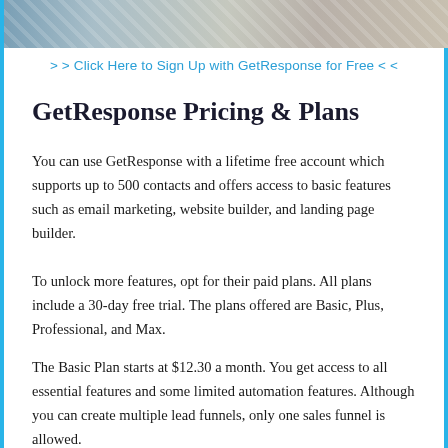[Figure (photo): Decorative photo strip at top of page showing a workspace/desk scene with striped fabric and office items]
>> Click Here to Sign Up with GetResponse for Free <<
GetResponse Pricing & Plans
You can use GetResponse with a lifetime free account which supports up to 500 contacts and offers access to basic features such as email marketing, website builder, and landing page builder.
To unlock more features, opt for their paid plans. All plans include a 30-day free trial. The plans offered are Basic, Plus, Professional, and Max.
The Basic Plan starts at $12.30 a month. You get access to all essential features and some limited automation features. Although you can create multiple lead funnels, only one sales funnel is allowed.